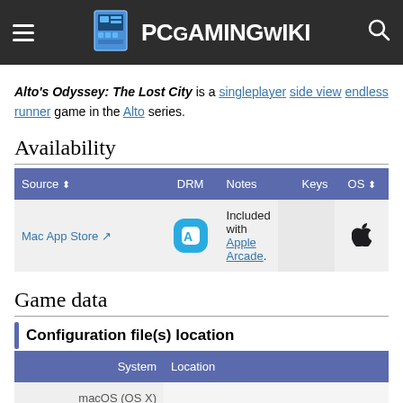PCGamingWiki
Alto's Odyssey: The Lost City is a singleplayer side view endless runner game in the Alto series.
Availability
| Source | DRM | Notes | Keys | OS |
| --- | --- | --- | --- | --- |
| Mac App Store | [App Store icon] | Included with Apple Arcade. |  | [Apple logo] |
Game data
Configuration file(s) location
| System | Location |
| --- | --- |
| macOS (OS X) |  |